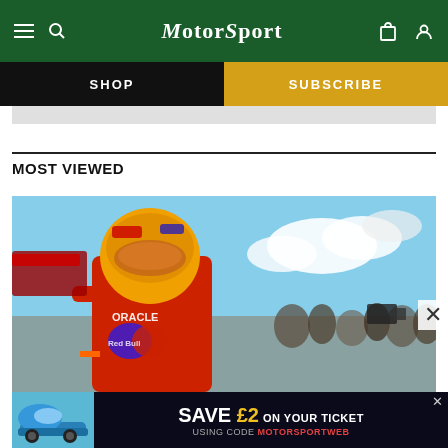MotorSport
SHOP
SUBSCRIBE
MOST VIEWED
[Figure (photo): F1 driver in Red Bull Oracle racing suit and helmet standing after a race, crowd and cameras visible in background, blue sky with clouds]
[Figure (infographic): Advertisement banner: blue Porsche 911 car image on left, dark background with text SAVE £2 ON YOUR TICKET USING CODE MOTORSPORTWEB]